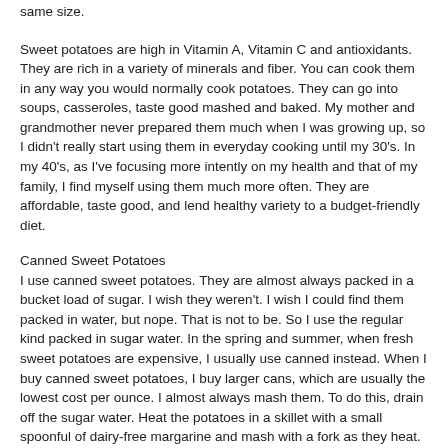same size.
Sweet potatoes are high in Vitamin A, Vitamin C and antioxidants. They are rich in a variety of minerals and fiber. You can cook them in any way you would normally cook potatoes. They can go into soups, casseroles, taste good mashed and baked. My mother and grandmother never prepared them much when I was growing up, so I didn't really start using them in everyday cooking until my 30's. In my 40's, as I've focusing more intently on my health and that of my family, I find myself using them much more often. They are affordable, taste good, and lend healthy variety to a budget-friendly diet.
Canned Sweet Potatoes
I use canned sweet potatoes. They are almost always packed in a bucket load of sugar. I wish they weren't. I wish I could find them packed in water, but nope. That is not to be. So I use the regular kind packed in sugar water. In the spring and summer, when fresh sweet potatoes are expensive, I usually use canned instead. When I buy canned sweet potatoes, I buy larger cans, which are usually the lowest cost per ounce. I almost always mash them. To do this, drain off the sugar water. Heat the potatoes in a skillet with a small spoonful of dairy-free margarine and mash with a fork as they heat. Serve when they are hot. It's pretty easy and it tastes good too.